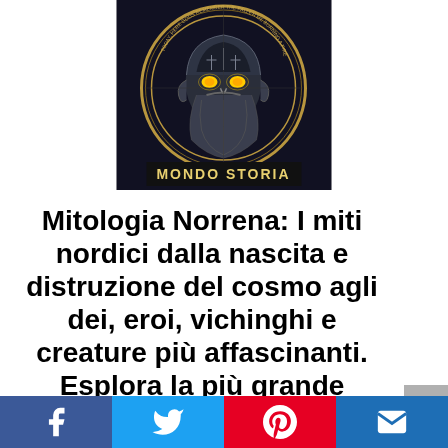[Figure (illustration): Book cover for 'Mondo Storia' featuring a dark fantasy Norse god face with glowing yellow eyes, circular runic border, gold lettering on black background with 'MONDO STORIA' text at bottom]
Mitologia Norrena: I miti nordici dalla nascita e distruzione del cosmo agli dei, eroi, vichinghi e creature più affascinanti. Esplora la più grande raccolta di leggende sui miti del nord.
[Figure (infographic): Social sharing bar with Facebook, Twitter, Pinterest, and Email buttons]